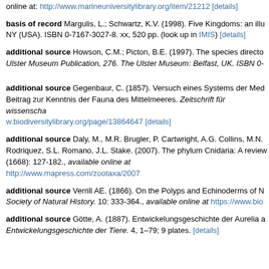online at: http://www.marineuniversitylibrary.org/item/21212 [details]
basis of record Margulis, L.; Schwartz, K.V. (1998). Five Kingdoms: an illustrated guide to the Phyla of Life on Earth. 3rd ed. W.H. Freeman: New York, NY (USA). ISBN 0-7167-3027-8. xx, 520 pp. (look up in IMIS) [details]
additional source Howson, C.M.; Picton, B.E. (1997). The species directory of the marine fauna and flora of the British Isles and surrounding seas. Ulster Museum Publication, 276. The Ulster Museum: Belfast, UK. ISBN 0-
additional source Gegenbaur, C. (1857). Versuch eines Systems der Medusen, mit Beschreibung neuer oder wenig gekannter Formen; zugleich ein Beitrag zur Kenntnis der Fauna des Mittelmeeres. Zeitschrift für wissenscha... w.biodiversitylibrary.org/page/13864647 [details]
additional source Daly, M., M.R. Brugler, P. Cartwright, A.G. Collins, M.N. Dawson, D.G. Fautin, S.C. France, C.S. McFadden, D.M. Opresko, E. Rodriguez, S.L. Romano, J.L. Stake. (2007). The phylum Cnidaria: A review... (1668): 127-182., available online at http://www.mapress.com/zootaxa/2007...
additional source Verrill AE. (1866). On the Polyps and Echinoderms of N... Society of Natural History. 10: 333-364., available online at https://www.bio...
additional source Götte, A. (1887). Entwickelungsgeschichte der Aurelia a... Entwickelungsgeschichte der Tiere. 4, 1–79; 9 plates. [details]